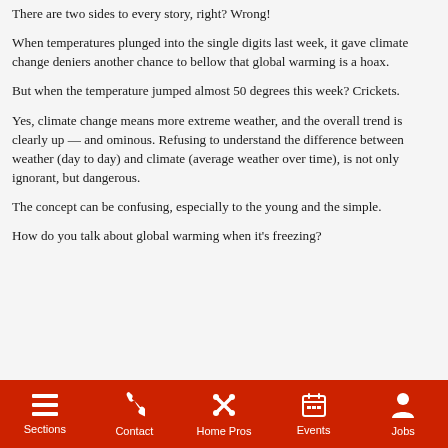There are two sides to every story, right? Wrong!
When temperatures plunged into the single digits last week, it gave climate change deniers another chance to bellow that global warming is a hoax.
But when the temperature jumped almost 50 degrees this week? Crickets.
Yes, climate change means more extreme weather, and the overall trend is clearly up — and ominous. Refusing to understand the difference between weather (day to day) and climate (average weather over time), is not only ignorant, but dangerous.
The concept can be confusing, especially to the young and the simple.
How do you talk about global warming when it's freezing?
Sections | Contact | Home Pros | Events | Jobs